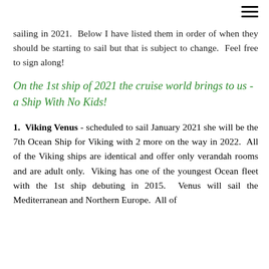≡
sailing in 2021.  Below I have listed them in order of when they should be starting to sail but that is subject to change.  Feel free to sign along!
On the 1st ship of 2021 the cruise world brings to us - a Ship With No Kids!
1.  Viking Venus - scheduled to sail January 2021 she will be the 7th Ocean Ship for Viking with 2 more on the way in 2022.  All of the Viking ships are identical and offer only verandah rooms and are adult only.  Viking has one of the youngest Ocean fleet with the 1st ship debuting in 2015.  Venus will sail the Mediterranean and Northern Europe.  All of